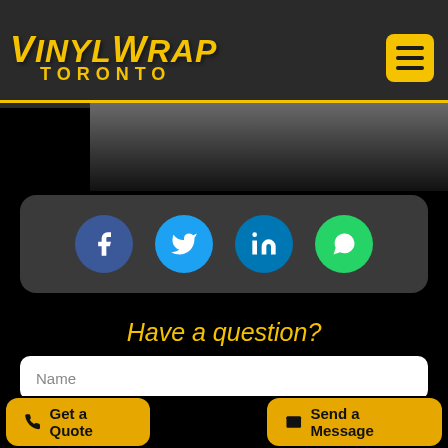VinylWrap Toronto
[Figure (screenshot): Partial car image showing dark vehicle hood/surface]
[Figure (infographic): Social media share buttons: Facebook, Twitter, LinkedIn, WhatsApp]
Have a question?
[Figure (screenshot): Contact form with Name field, Email field]
Get a Quote | Send a Message